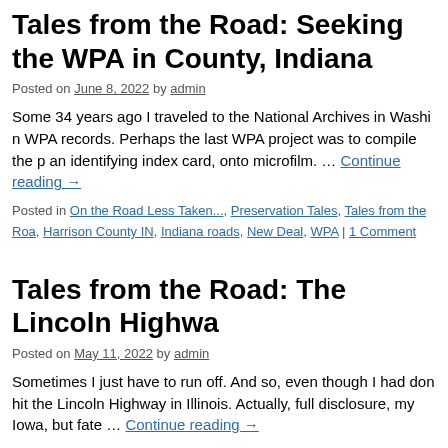Tales from the Road: Seeking the WPA in County, Indiana
Posted on June 8, 2022 by admin
Some 34 years ago I traveled to the National Archives in Washington WPA records. Perhaps the last WPA project was to compile the an identifying index card, onto microfilm. … Continue reading →
Posted in On the Road Less Taken..., Preservation Tales, Tales from the Road, Harrison County IN, Indiana roads, New Deal, WPA | 1 Comment
Tales from the Road: The Lincoln Highway
Posted on May 11, 2022 by admin
Sometimes I just have to run off. And so, even though I had done hit the Lincoln Highway in Illinois. Actually, full disclosure, my Iowa, but fate … Continue reading →
Posted in On the Road Less Taken..., Preservation Tales, The Past is Ever P Illinois, Lincoln Highway, nostalgia, road food, roadside attractions | 1 Comment